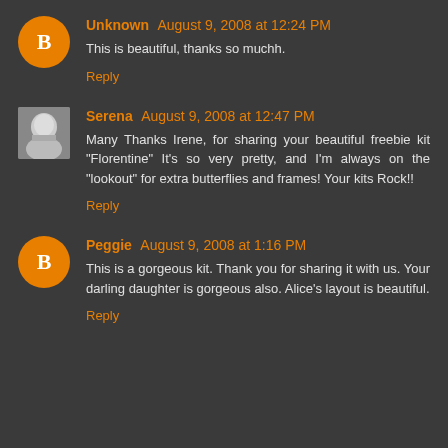Unknown August 9, 2008 at 12:24 PM
This is beautiful, thanks so muchh.
Reply
Serena August 9, 2008 at 12:47 PM
Many Thanks Irene, for sharing your beautiful freebie kit "Florentine" It's so very pretty, and I'm always on the "lookout" for extra butterflies and frames! Your kits Rock!!
Reply
Peggie August 9, 2008 at 1:16 PM
This is a gorgeous kit. Thank you for sharing it with us. Your darling daughter is gorgeous also. Alice's layout is beautiful.
Reply